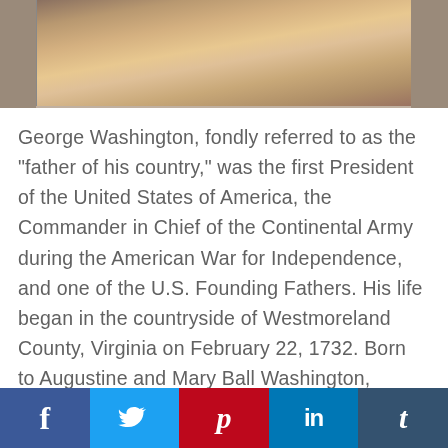[Figure (photo): Partial portrait painting of George Washington, showing lower torso/chest area with period clothing, cropped at top of page]
George Washington, fondly referred to as the "father of his country," was the first President of the United States of America, the Commander in Chief of the Continental Army during the American War for Independence, and one of the U.S. Founding Fathers. His life began in the countryside of Westmoreland County, Virginia on February 22, 1732. Born to Augustine and Mary Ball Washington, middle class farmers and plantation owners, George learned about farming at a young age after the early death of
[Figure (infographic): Social media sharing bar at bottom with icons for Facebook (f), Twitter (bird), Pinterest (p), LinkedIn (in), and Tumblr (t)]